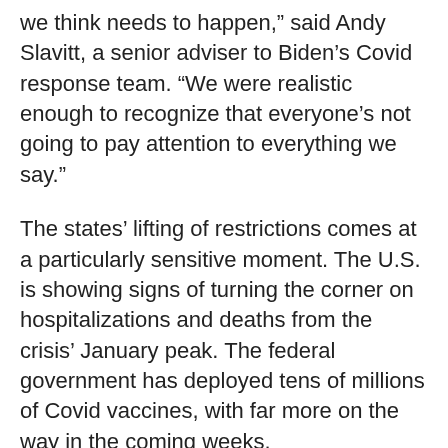we think needs to happen,” said Andy Slavitt, a senior adviser to Biden’s Covid response team. “We were realistic enough to recognize that everyone’s not going to pay attention to everything we say.”
The states’ lifting of restrictions comes at a particularly sensitive moment. The U.S. is showing signs of turning the corner on hospitalizations and deaths from the crisis’ January peak. The federal government has deployed tens of millions of Covid vaccines, with far more on the way in the coming weeks.
Three working vaccines. Ramped-up production. Falling hospitalizations. “Normal life” feels within reach … But actually, it’s still gonna be a bit. And just hours before Texas and Mississippi dropped their restrictions, Biden was touting a new